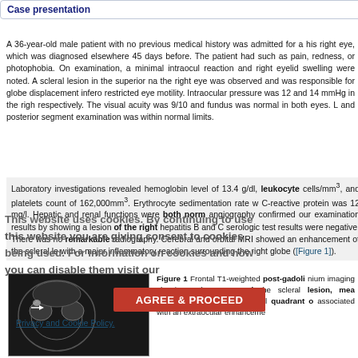Case presentation
A 36-year-old male patient with no previous medical history was admitted for a his right eye, which was diagnosed elsewhere 45 days before. The patient had such as pain, redness, or photophobia. On examination, a minimal intraocul reaction and right eyelid swelling were noted. A scleral lesion in the superior na the right eye was observed and was responsible for globe displacement infero restricted eye motility. Intraocular pressure was 12 and 14 mmHg in the righ respectively. The visual acuity was 9/10 and fundus was normal in both eyes. L and posterior segment examination was within normal limits.
Laboratory investigations revealed hemoglobin level of 13.4 g/dl, leukocyte cells/mm³, and platelets count of 162,000mm³. Erythrocyte sedimentation rate w C-reactive protein was 12 mg/l. Hepatic and renal functions were both norm angiography confirmed our examination results by showing a lesion of the right hepatitis B and C serologic test results were negative. There was no remarkable radiography. Cerebral and orbital MRI showed an enhancement of the scleral le with a major inflammatory reaction surrounding the right globe ([Figure 1]).
[Figure (photo): Frontal T1-weighted post-gadolinium MRI image showing enhancement of a scleral lesion localized in the superior nasal quadrant of the right eye, associated with extraocular enhancement.]
Figure 1 Frontal T1-weighted post-gadolinium imaging showing enhancement of the scleral lesion, mea localized in the superior nasal quadrant o associated with an extraocular enhanceme